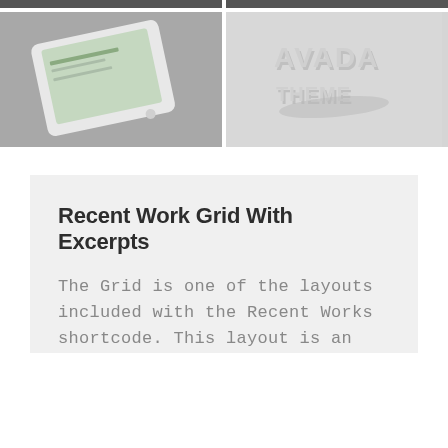[Figure (screenshot): Dark cropped image strip at top left]
[Figure (screenshot): Dark cropped image strip at top right]
[Figure (photo): Photo of a tablet device displaying a website on a gray background]
[Figure (photo): 3D embossed AVADA THEME text on a light gray textured background]
Recent Work Grid With Excerpts
The Grid is one of the layouts included with the Recent Works shortcode. This layout is an